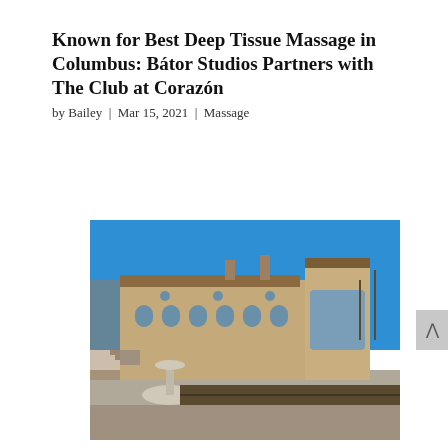Known for Best Deep Tissue Massage in Columbus: Bátor Studios Partners with The Club at Corazón
by Bailey | Mar 15, 2021 | Massage
[Figure (photo): Exterior photograph of The Club at Corazón, a large Spanish-style brick building with arched windows and a fountain courtyard in the foreground, taken under a clear blue sky. Hedges and winter trees are visible in the grounds.]